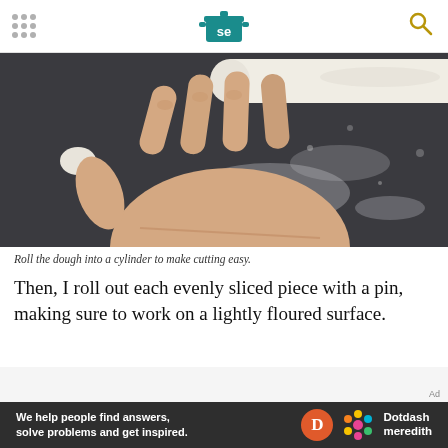Serious Eats logo, navigation dots, search icon
[Figure (photo): A hand rolling dough into a cylinder on a dark floured surface. The dough is pale and smooth, shaped into a log.]
Roll the dough into a cylinder to make cutting easy.
Then, I roll out each evenly sliced piece with a pin, making sure to work on a lightly floured surface.
[Figure (other): Ad banner: gray area with 'Ad' label, followed by dark bar reading 'We help people find answers, solve problems and get inspired.' with Dotdash Meredith logo.]